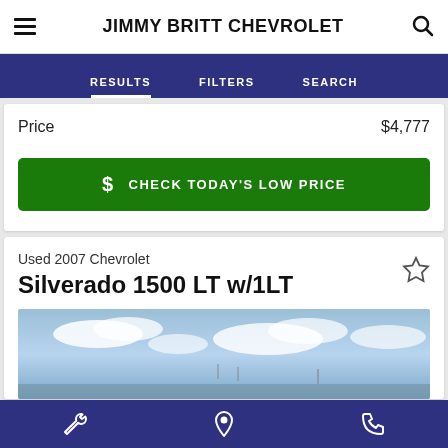JIMMY BRITT CHEVROLET
RESULTS   FILTERS   SEARCH
Price   $4,777
$ CHECK TODAY'S LOW PRICE
Used 2007 Chevrolet
Silverado 1500 LT w/1LT
[Figure (photo): Sky and outdoor photo of a vehicle listing for a 2007 Chevrolet Silverado 1500 LT w/1LT]
Bottom navigation bar with wrench, location pin, and phone icons